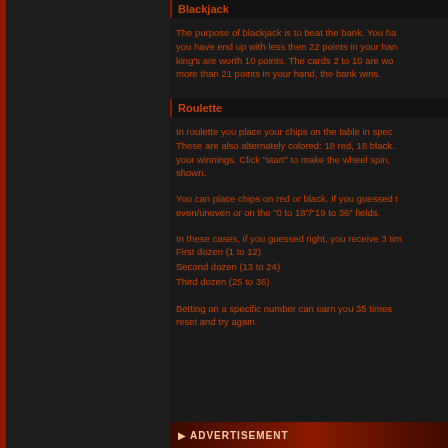Blackjack
The purpose of blackjack is to beat the bank. You have to make sure you have end up with less then 22 points in your hand. Ace's are worth 11, king's are worth 10 points. The cards 2 to 10 are worth their own value. If you have more than 21 points in your hand, the bank wins.
Roulette
In roulette you place your chips on the table in specific fields. These are also alternately colored: 18 red, 18 black. The roulette wheel determines your winnings. Click "start" to make the wheel spin. Your winnings are shown.
You can place chips on red or black. If you guessed the color right, you can place even/uneven or on the "0 to 18"/"19 to 36" fields.
In these cases, if you guessed right, you receive 3 times your bet. First dozen (1 to 12)
First dozen (1 to 12)
Second dozen (13 to 24)
Third dozen (25 to 36)
Betting on a specific number can earn you 35 times your bet. reset and try again.
▶ ADVERTISEMENT